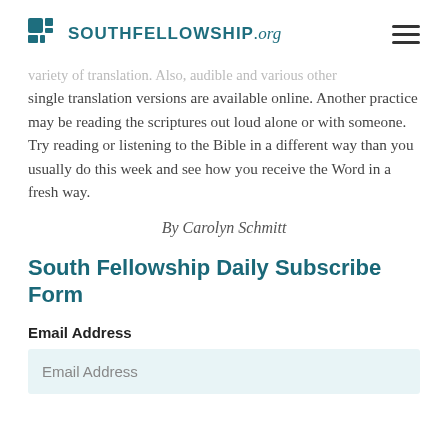SOUTHFELLOWSHIP.org
variety of translation. Also, audible and various other single translation versions are available online. Another practice may be reading the scriptures out loud alone or with someone. Try reading or listening to the Bible in a different way than you usually do this week and see how you receive the Word in a fresh way.
By Carolyn Schmitt
South Fellowship Daily Subscribe Form
Email Address
Email Address